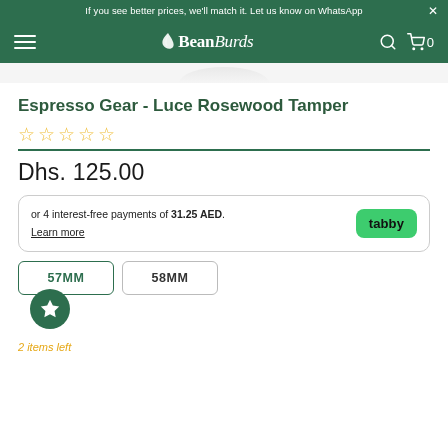If you see better prices, we'll match it. Let us know on WhatsApp
[Figure (logo): BeanBurds logo with bird icon on dark green navigation bar]
[Figure (photo): Partial product image at top of page (cropped)]
Espresso Gear - Luce Rosewood Tamper
☆☆☆☆☆ (5 empty stars rating)
Dhs. 125.00
or 4 interest-free payments of 31.25 AED. Learn more  [tabby]
57MM  58MM
2 items left